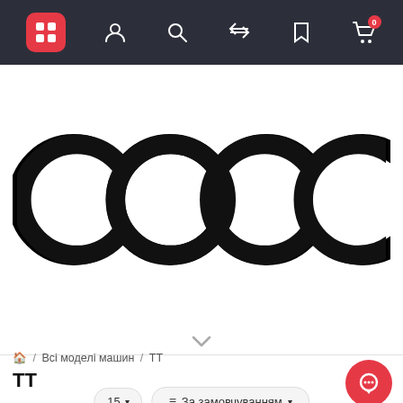Navigation bar with icons: grid menu (active, red), user, search, compare, bookmark, cart (0)
[Figure (logo): Audi four-ring logo in black on white background]
🏠 / Всі моделі машин / TT
TT
15 ▼   ≡ За замовчуванням ▼